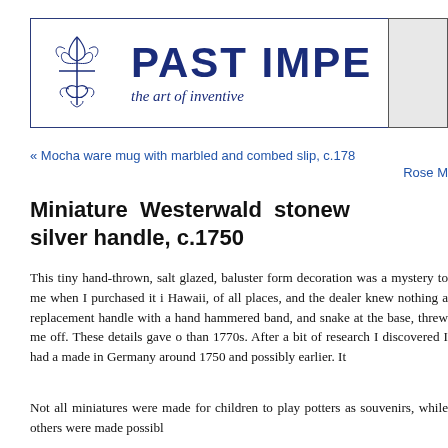[Figure (logo): Past Imperfect logo with decorative fleur-de-lis symbol and text 'PAST IMPE...' in bold blue, tagline 'the art of inventive re...' in italic blue]
« Mocha ware mug with marbled and combed slip, c.1780
Rose M
Miniature Westerwald stonew... silver handle, c.1750
This tiny hand-thrown, salt glazed, baluster form decoration was a mystery to me when I purchased it in Hawaii, of all places, and the dealer knew nothing a... replacement handle with a hand hammered band, and snake at the base, threw me off. These details gave o... than 1770s. After a bit of research I discovered I had a... made in Germany around 1750 and possibly earlier. It
Not all miniatures were made for children to play ... potters as souvenirs, while others were made possibl...